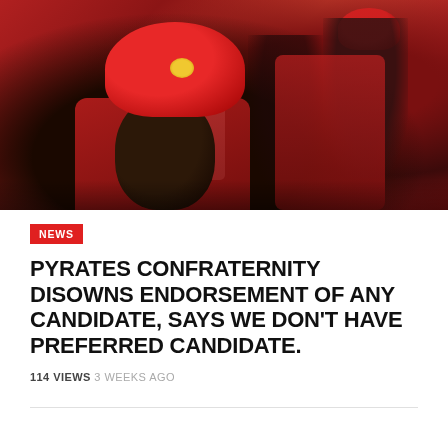[Figure (photo): Group of people wearing red hats and red vests/uniforms, associated with Pyrates Confraternity, photographed at a gathering]
NEWS
PYRATES CONFRATERNITY DISOWNS ENDORSEMENT OF ANY CANDIDATE, SAYS WE DON'T HAVE PREFERRED CANDIDATE.
114 VIEWS  3 WEEKS AGO